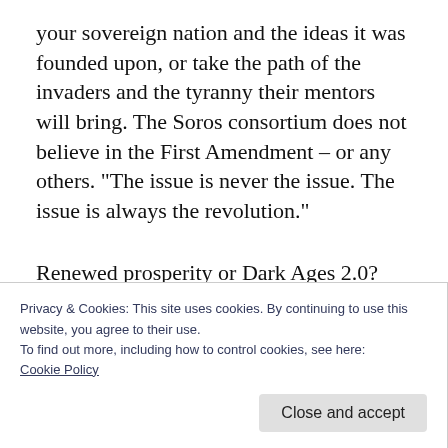your sovereign nation and the ideas it was founded upon, or take the path of the invaders and the tyranny their mentors will bring. The Soros consortium does not believe in the First Amendment – or any others. “The issue is never the issue. The issue is always the revolution.”
Renewed prosperity or Dark Ages 2.0?
It’s going to be a long, leftist summer
Privacy & Cookies: This site uses cookies. By continuing to use this website, you agree to their use.
To find out more, including how to control cookies, see here:
Cookie Policy
Close and accept